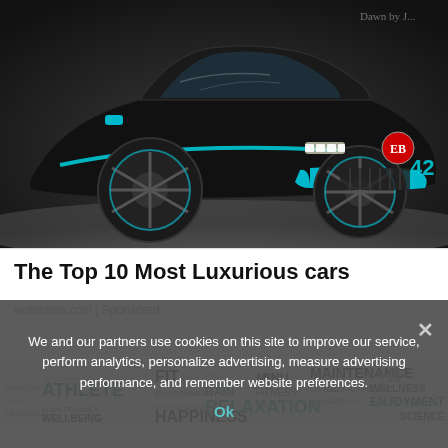[Figure (photo): Black and blue Bugatti supercar on display floor, front three-quarter view]
The Top 10 Most Luxurious cars
wolrdame.com | Sponsored
[Figure (infographic): Word cloud with health/wellness related terms: ATHLETE, FIT, WELLBEING, MAINTENANCE, HAPPINESS, RELAXATION, FITNESS, WELLNESS, ENJOYMENT, SELF-CARE, MIND, MUSCLE, SCIENCE, etc.]
We and our partners use cookies on this site to improve our service, perform analytics, personalize advertising, measure advertising performance, and remember website preferences.
Ok